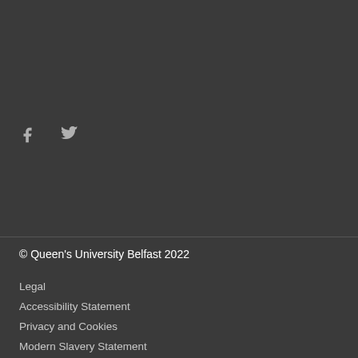[Figure (other): Social media icons: Facebook (f) and Twitter (bird icon) in light gray on dark background]
© Queen's University Belfast 2022
Legal
Accessibility Statement
Privacy and Cookies
Modern Slavery Statement